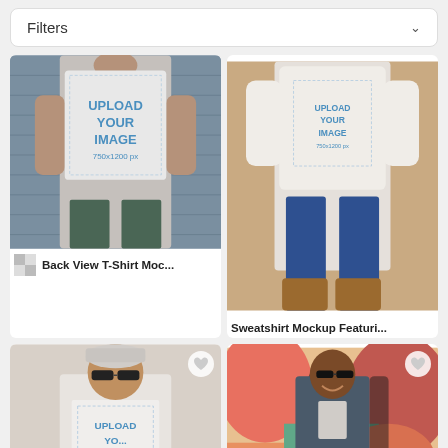Filters
[Figure (photo): Back view of man wearing white t-shirt with 'UPLOAD YOUR IMAGE 750x1200px' watermark placeholder, standing in front of blue shutters]
Back View T-Shirt Moc...
[Figure (photo): Front view of woman wearing white sweatshirt with 'UPLOAD YOUR IMAGE 750x1200px' watermark, jeans and brown boots on beige background]
Sweatshirt Mockup Featuri...
[Figure (photo): Young man with backwards cap and sunglasses wearing white t-shirt with 'UPLOAD YOUR IMAGE' watermark placeholder]
[Figure (photo): Man with sunglasses smiling in front of colorful mural wall, wearing dark jacket]